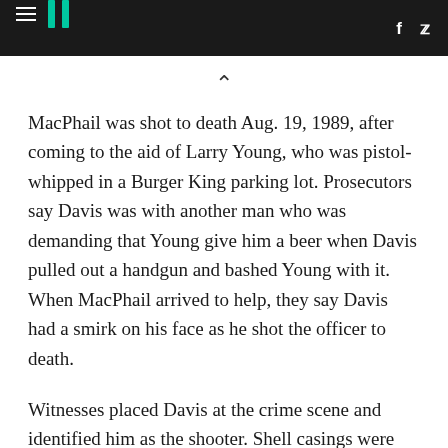HuffPost navigation header with hamburger menu, logo, Facebook and Twitter icons
MacPhail was shot to death Aug. 19, 1989, after coming to the aid of Larry Young, who was pistol-whipped in a Burger King parking lot. Prosecutors say Davis was with another man who was demanding that Young give him a beer when Davis pulled out a handgun and bashed Young with it. When MacPhail arrived to help, they say Davis had a smirk on his face as he shot the officer to death.
Witnesses placed Davis at the crime scene and identified him as the shooter. Shell casings were